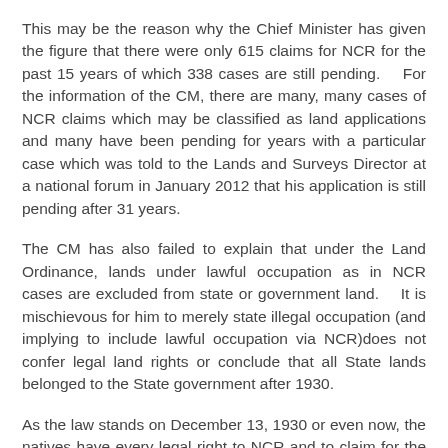This may be the reason why the Chief Minister has given the figure that there were only 615 claims for NCR for the past 15 years of which 338 cases are still pending.    For the information of the CM, there are many, many cases of NCR claims which may be classified as land applications and many have been pending for years with a particular case which was told to the Lands and Surveys Director at a national forum in January 2012 that his application is still pending after 31 years.
The CM has also failed to explain that under the Land Ordinance, lands under lawful occupation as in NCR cases are excluded from state or government land.    It is mischievous for him to merely state illegal occupation (and implying to include lawful occupation via NCR)does not confer legal land rights or conclude that all State lands belonged to the State government after 1930.
As the law stands on December 13, 1930 or even now, the natives have every legal right to NCR and to claim for the land rights.